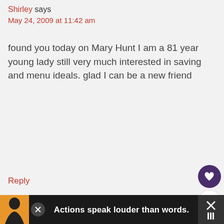Shirley says
May 24, 2009 at 11:42 am
found you today on Mary Hunt I am a 81 year young lady still very much interested in saving and menu ideals. glad I can be a new friend
Reply
Joy says
May 26, 2009 at 9:21 pm
WHAT'S NEXT → Top 5 Recipes on $5 Dinner...
Actions speak louder than words.